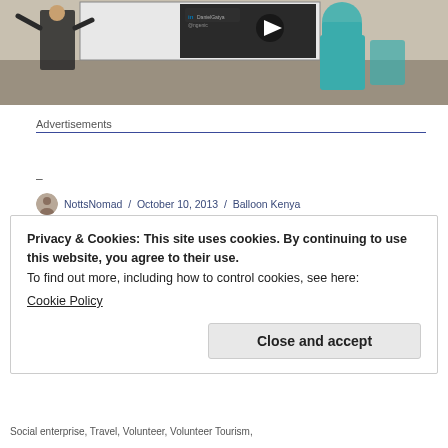[Figure (photo): A person presenting in a room with a projector screen showing a LinkedIn profile and YouTube play button, teal chairs visible in background.]
Advertisements
–
NottsNomad / October 10, 2013 / Balloon Kenya
Privacy & Cookies: This site uses cookies. By continuing to use this website, you agree to their use.
To find out more, including how to control cookies, see here:
Cookie Policy
Close and accept
Social enterprise, Travel, Volunteer, Volunteer Tourism,